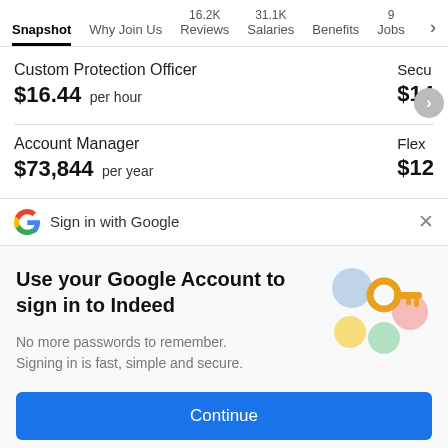Snapshot | Why Join Us | 16.2K Reviews | 31.1K Salaries | Benefits | 9 Jobs
Custom Protection Officer
$16.44 per hour
Account Manager
$73,844 per year
Sign in with Google
Use your Google Account to sign in to Indeed
No more passwords to remember. Signing in is fast, simple and secure.
Continue